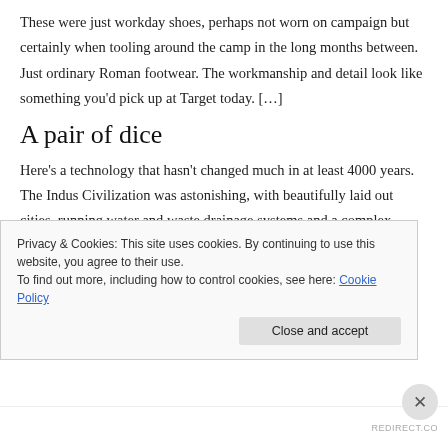These were just workday shoes, perhaps not worn on campaign but certainly when tooling around the camp in the long months between. Just ordinary Roman footwear. The workmanship and detail look like something you'd pick up at Target today. […]
A pair of dice
Here's a technology that hasn't changed much in at least 4000 years. The Indus Civilization was astonishing, with beautifully laid out cities, running water and waste drainage systems and a complex economy, alas, we can't seem to crack the writing, so what we know is
Privacy & Cookies: This site uses cookies. By continuing to use this website, you agree to their use.
To find out more, including how to control cookies, see here: Cookie Policy
REDIRECT.CO